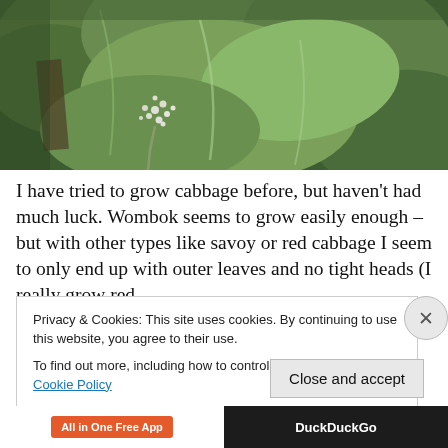[Figure (photo): Close-up photograph of large green cabbage leaves with white flower cluster visible in the center]
I have tried to grow cabbage before, but haven't had much luck. Wombok seems to grow easily enough – but with other types like savoy or red cabbage I seem to only end up with outer leaves and no tight heads (I really grow red
Privacy & Cookies: This site uses cookies. By continuing to use this website, you agree to their use.
To find out more, including how to control cookies, see here: Cookie Policy
Close and accept